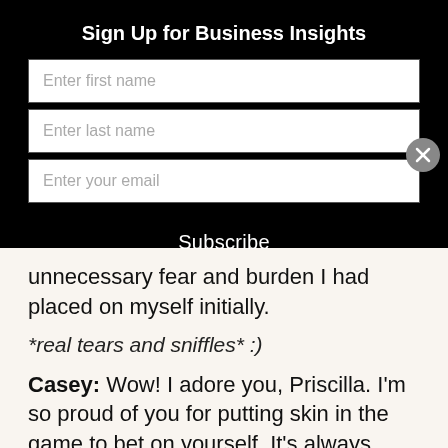Sign Up for Business Insights
Enter first name
Enter last name
Enter your email
Subscribe
unnecessary fear and burden I had placed on myself initially.
*real tears and sniffles* :)
Casey: Wow! I adore you, Priscilla. I'm so proud of you for putting skin in the game to bet on yourself. It's always worth it - always will be. You're just that